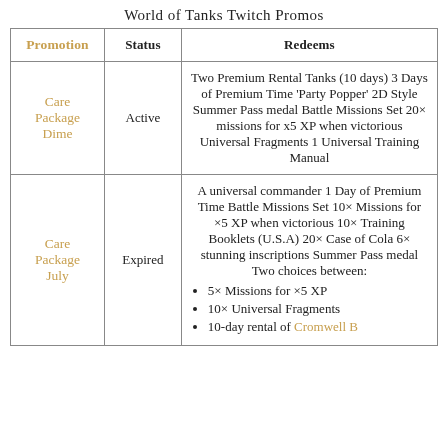World of Tanks Twitch Promos
| Promotion | Status | Redeems |
| --- | --- | --- |
| Care Package Dime | Active | Two Premium Rental Tanks (10 days) 3 Days of Premium Time 'Party Popper' 2D Style Summer Pass medal Battle Missions Set 20× missions for x5 XP when victorious Universal Fragments 1 Universal Training Manual |
| Care Package July | Expired | A universal commander 1 Day of Premium Time Battle Missions Set 10× Missions for ×5 XP when victorious 10× Training Booklets (U.S.A) 20× Case of Cola 6× stunning inscriptions Summer Pass medal Two choices between: • 5× Missions for ×5 XP • 10× Universal Fragments • 10-day rental of Cromwell B |